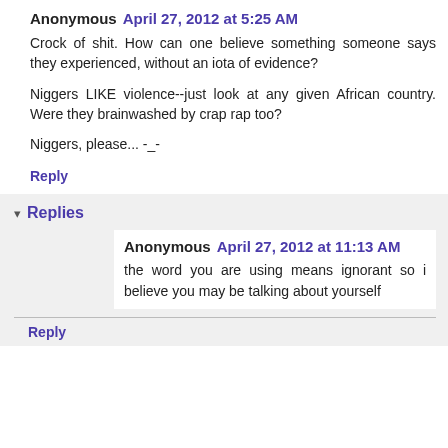Anonymous April 27, 2012 at 5:25 AM
Crock of shit. How can one believe something someone says they experienced, without an iota of evidence?

Niggers LIKE violence--just look at any given African country. Were they brainwashed by crap rap too?

Niggers, please... -_-
Reply
Replies
Anonymous April 27, 2012 at 11:13 AM
the word you are using means ignorant so i believe you may be talking about yourself
Reply